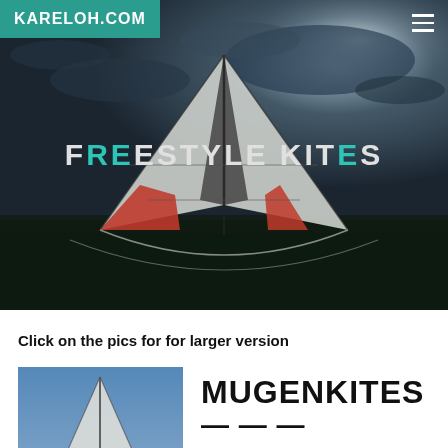KARELOH.COM
[Figure (photo): A freestyle stunt kite with white, red, and dark panels photographed from below against a dramatic dark cloudy sky with bright rays of light. The kite is triangular/delta shaped with colored sections visible. A dark grassy landscape is visible at the bottom.]
FREESTYLE KITES
Click on the pics for for larger version
[Figure (photo): Close-up photo of the lower portion of a kite against a blue sky, showing the leading edge and tips of a delta or dual-line stunt kite. White fabric with structural lines visible.]
MUGENKITES